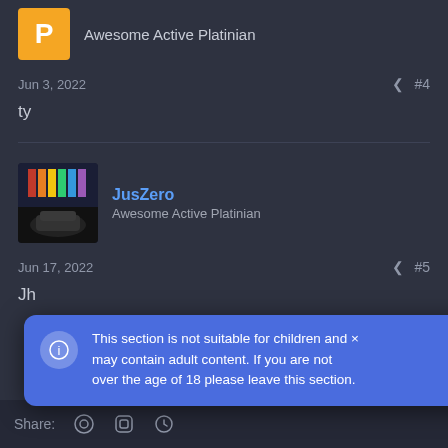Awesome Active Platinian
Jun 3, 2022  #4
ty
JusZero
Awesome Active Platinian
Jun 17, 2022  #5
Jh
This section is not suitable for children and may contain adult content. If you are not over the age of 18 please leave this section.